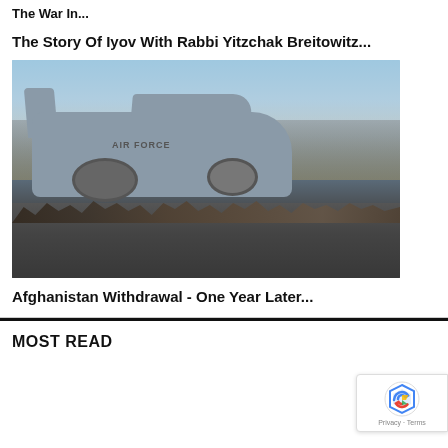The War In...
The Story Of Iyov With Rabbi Yitzchak Breitowitz...
[Figure (photo): A large US Air Force military transport aircraft (C-17 Globemaster) on a tarmac surrounded by a large crowd of people running alongside it. Dusty, hazy background suggesting a desert environment. The aircraft has 'AIR FORCE' lettering on the fuselage.]
Afghanistan Withdrawal - One Year Later...
MOST READ